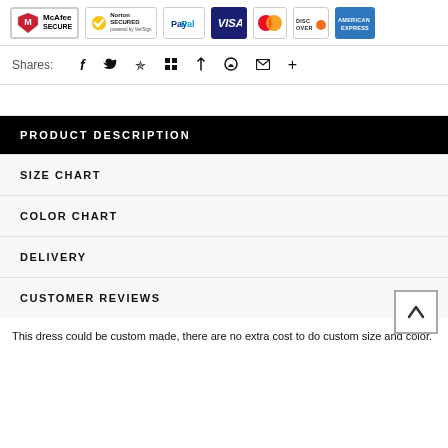[Figure (logo): Security badges and payment method logos: McAfee SECURE, Norton SECURED by VeriSign, PayPal, Visa, Mastercard, Discover, American Express]
Shares:
Social sharing icons: f (Facebook), Twitter, Pinterest, grid icon, bookmark, heart, envelope, plus
PRODUCT DESCRIPTION
SIZE CHART
COLOR CHART
DELIVERY
CUSTOMER REVIEWS
This dress could be custom made, there are no extra cost to do custom size and color.